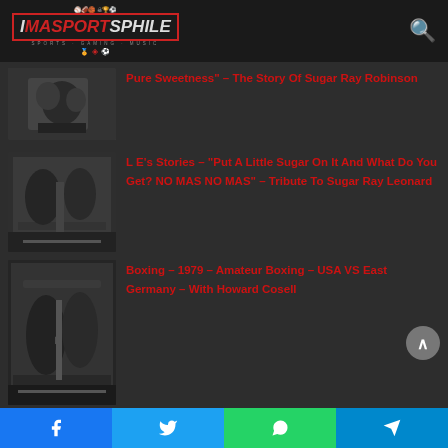[Figure (logo): IMASPORTSPHILE website logo with sports icons]
Pure Sweetness" – The Story Of Sugar Ray Robinson
[Figure (photo): Black and white boxing photo - Sugar Ray Robinson]
L E's Stories – "Put A Little Sugar On It And What Do You Get? NO MAS NO MAS" – Tribute To Sugar Ray Leonard
[Figure (photo): Black and white boxing photo - Sugar Ray Leonard]
Boxing – 1979 – Amateur Boxing – USA VS East Germany – With Howard Cosell
[Figure (photo): Black and white boxing photo - USA vs East Germany 1979 amateur boxing]
Facebook  Twitter  WhatsApp  Telegram